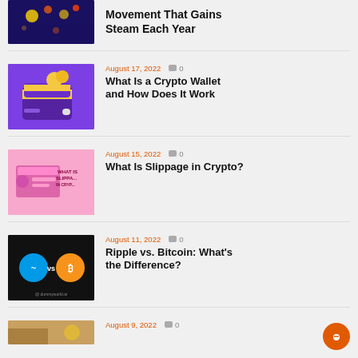[Figure (illustration): Partially visible article thumbnail at top]
Movement That Gains Steam Each Year
[Figure (illustration): Purple crypto wallet with gold coins]
August 17, 2022   0
What Is a Crypto Wallet and How Does It Work
[Figure (illustration): Pink background with robot and slippage crypto graphic]
August 15, 2022   0
What Is Slippage in Crypto?
[Figure (illustration): Black background with Ripple vs Bitcoin logos]
August 11, 2022   0
Ripple vs. Bitcoin: What's the Difference?
August 9, 2022   0